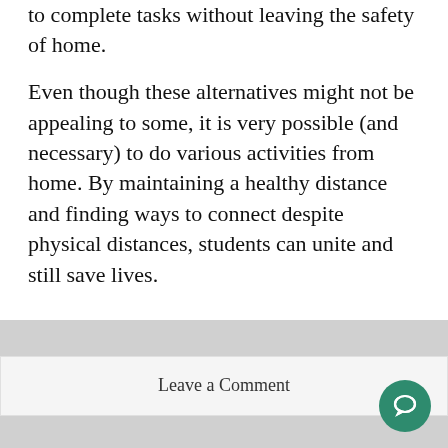to complete tasks without leaving the safety of home.
Even though these alternatives might not be appealing to some, it is very possible (and necessary) to do various activities from home. By maintaining a healthy distance and finding ways to connect despite physical distances, students can unite and still save lives.
Leave a Comment
About the Contributor